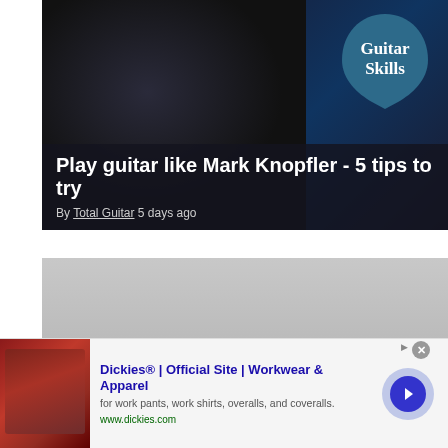[Figure (photo): Article card showing a guitarist performing on stage in dark lighting, with a blue guitar pick shaped logo reading 'Guitar Skills' in the upper right corner. Dark overlay at the bottom contains the article title and byline.]
Play guitar like Mark Knopfler - 5 tips to try
By Total Guitar 5 days ago
[Figure (photo): Article card with gray background showing partial text 'Dave Grohl appears with Tenacious' with dark overlay at bottom.]
Dave Grohl appears with Tenacious
[Figure (screenshot): Advertisement banner for Dickies workwear showing a red leather chair image on the left, text in center reading 'Dickies® | Official Site | Workwear & Apparel, for work pants, work shirts, overalls, and coveralls. www.dickies.com', and a blue circular arrow button on the right.]